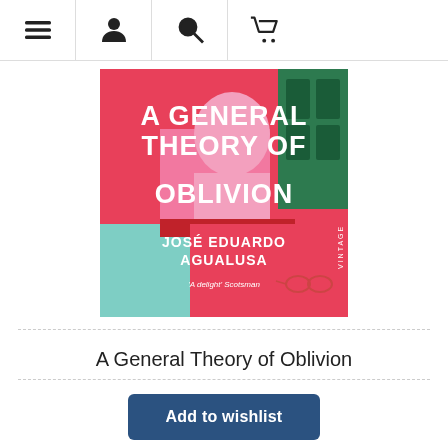Navigation bar with menu, account, search, and cart icons
[Figure (photo): Book cover of 'A General Theory of Oblivion' by José Eduardo Agualusa, published by Vintage. The cover features bold white text on a pink and red background with a green door, a pink silhouette, and the quote 'A delight' Scotsman.]
A General Theory of Oblivion
Add to wishlist